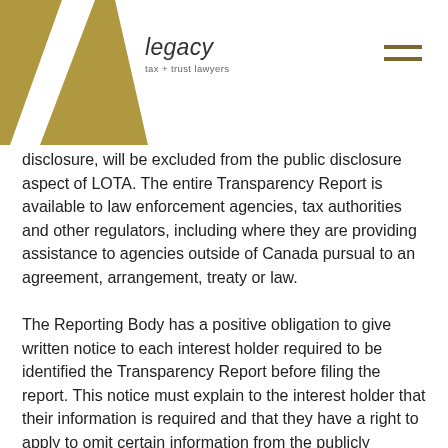[Figure (logo): Legacy tax + trust lawyers logo with gold geometric shape and italic wordmark]
disclosure, will be excluded from the public disclosure aspect of LOTA. The entire Transparency Report is available to law enforcement agencies, tax authorities and other regulators, including where they are providing assistance to agencies outside of Canada pursual to an agreement, arrangement, treaty or law.
The Reporting Body has a positive obligation to give written notice to each interest holder required to be identified the Transparency Report before filing the report. This notice must explain to the interest holder that their information is required and that they have a right to apply to omit certain information from the publicly accessible Land Owner Transparency Registry. The Reporting Body must also provide an extract of the Transparency Report to each interest holder showing the information contained therein within seven days of submitting the report.